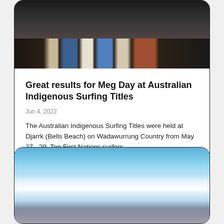[Figure (photo): Photo of people standing, showing from waist down, legs and feet visible against dark background]
Great results for Meg Day at Australian Indigenous Surfing Titles
Jun 4, 2022
The Australian Indigenous Surfing Titles were held at Djarrk (Bells Beach) on Wadawurrung Country from May 27 - 29.  Top First Nations surfers...
read more
[Figure (photo): Photo of a surfer riding a wave, blue ocean and white foam, surfer wearing blue wetsuit with long hair]